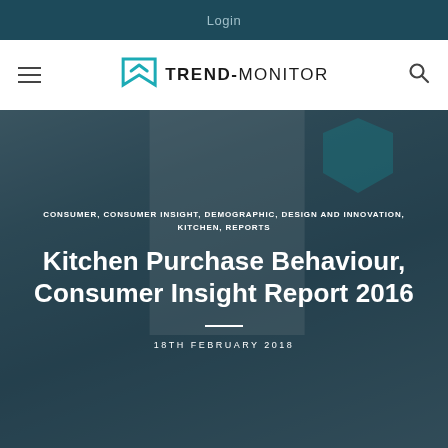Login
[Figure (logo): Trend-Monitor logo with teal arrow/bookmark icon and bold text TREND-MONITOR]
CONSUMER, CONSUMER INSIGHT, DEMOGRAPHIC, DESIGN AND INNOVATION, KITCHEN, REPORTS
Kitchen Purchase Behaviour, Consumer Insight Report 2016
18TH FEBRUARY 2018